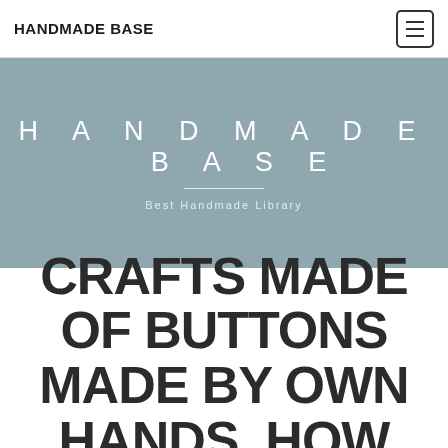HANDMADE BASE
[Figure (other): Navigation menu toggle button (hamburger icon) in top right corner]
HANDMADE BASE
Best Handmade Library
CRAFTS MADE OF BUTTONS MADE BY OWN HANDS. HOW